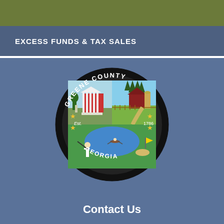EXCESS FUNDS & TAX SALES
[Figure (logo): Greene County Georgia official seal — circular black seal with gold stars, depicting a courthouse, red barn with rural road, golfer near water, text 'GREENE COUNTY', 'Est.', '1786', 'GEORGIA']
Contact Us